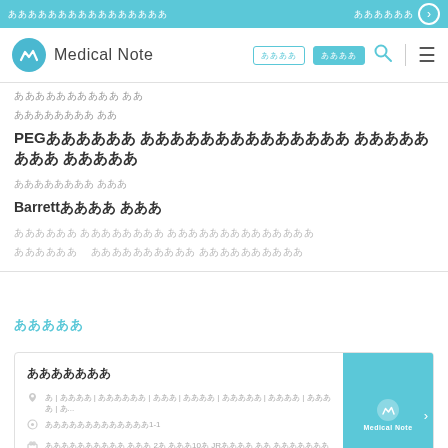Medical Note - Navigation header with logo, search and menu
ああああああああああ ああ
ああああああああ ああ
PEGああああああ ああああああああああああああ ああああああああ あああああ
ああああああああ あああ
Barrettああああ あああ
ああああああ ああああああああ ああああああああああああああ
ああああああ　 ああああああああああ ああああああああああ
あああああ
あああああああ
あ | ああああ | ああああああ | あああ | ああああ | あああああ | ああああ | ああああ | あ...
あああああああああああああ1-1
ああああああああああ あああ 2あ あああ10あ JRああああ ああ ああああああああああ → ああああああ...